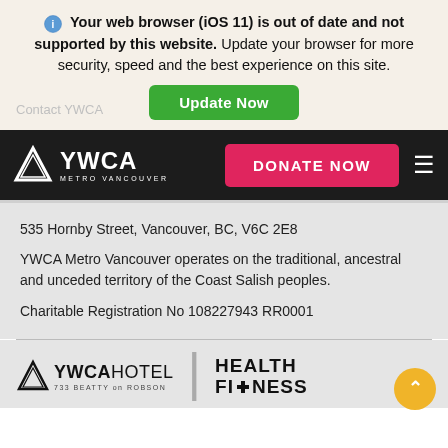Your web browser (iOS 11) is out of date and not supported by this website. Update your browser for more security, speed and the best experience on this site.
Update Now
Contact YWCA
[Figure (logo): YWCA Metro Vancouver white logo on dark navbar with DONATE NOW button and hamburger menu]
535 Hornby Street, Vancouver, BC, V6C 2E8
YWCA Metro Vancouver operates on the traditional, ancestral and unceded territory of the Coast Salish peoples.
Charitable Registration No 108227943 RR0001
[Figure (logo): YWCA Hotel 733 Beatty on Robson logo and Health Fitness logo with scroll-to-top button]